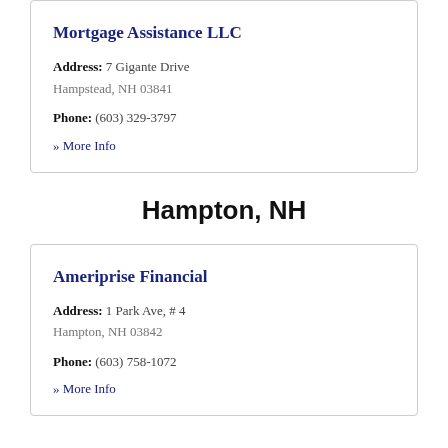Mortgage Assistance LLC
Address: 7 Gigante Drive
Hampstead, NH 03841
Phone: (603) 329-3797
» More Info
Hampton, NH
Ameriprise Financial
Address: 1 Park Ave, # 4
Hampton, NH 03842
Phone: (603) 758-1072
» More Info